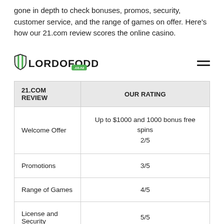gone in depth to check bonuses, promos, security, customer service, and the range of games on offer. Here's how our 21.com review scores the online casino.
[Figure (logo): LordOfOdds.co.nz logo with shield icon and hamburger menu icon]
| 21.COM REVIEW | OUR RATING |
| --- | --- |
| Welcome Offer | Up to $1000 and 1000 bonus free spins
2/5 |
| Promotions | 3/5 |
| Range of Games | 4/5 |
| License and Security | 5/5 |